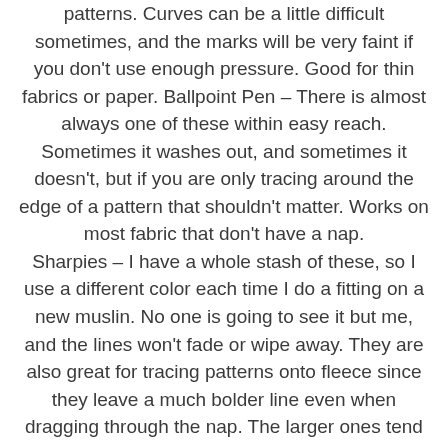patterns. Curves can be a little difficult sometimes, and the marks will be very faint if you don't use enough pressure. Good for thin fabrics or paper. Ballpoint Pen – There is almost always one of these within easy reach. Sometimes it washes out, and sometimes it doesn't, but if you are only tracing around the edge of a pattern that shouldn't matter. Works on most fabric that don't have a nap. Sharpies – I have a whole stash of these, so I use a different color each time I do a fitting on a new muslin. No one is going to see it but me, and the lines won't fade or wipe away. They are also great for tracing patterns onto fleece since they leave a much bolder line even when dragging through the nap. The larger ones tend to bleed on natural fibers, and you should always make sure the mark